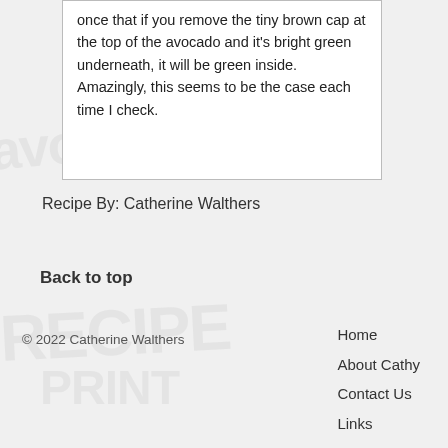once that if you remove the tiny brown cap at the top of the avocado and it's bright green underneath, it will be green inside. Amazingly, this seems to be the case each time I check.
Recipe By: Catherine Walthers
Back to top
© 2022 Catherine Walthers
Home
About Cathy
Contact Us
Links